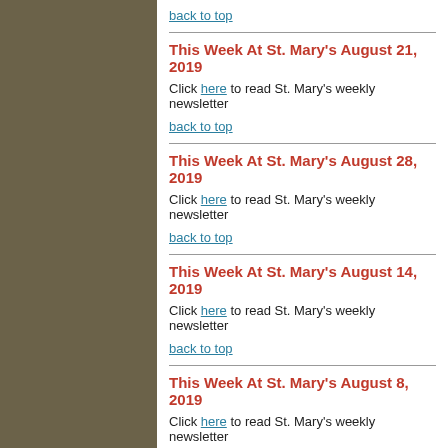back to top
This Week At St. Mary's August 21, 2019
Click here to read St. Mary's weekly newsletter
back to top
This Week At St. Mary's August 28, 2019
Click here to read St. Mary's weekly newsletter
back to top
This Week At St. Mary's August 14, 2019
Click here to read St. Mary's weekly newsletter
back to top
This Week At St. Mary's August 8, 2019
Click here to read St. Mary's weekly newsletter